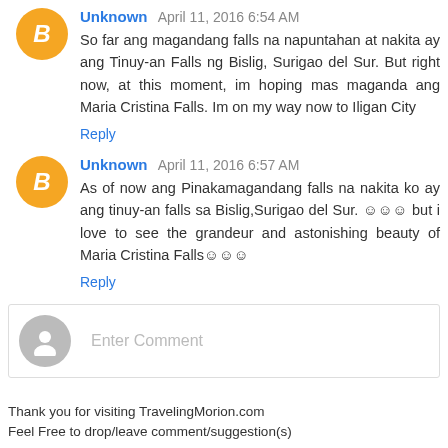Unknown April 11, 2016 6:54 AM
So far ang magandang falls na napuntahan at nakita ay ang Tinuy-an Falls ng Bislig, Surigao del Sur. But right now, at this moment, im hoping mas maganda ang Maria Cristina Falls. Im on my way now to Iligan City
Reply
Unknown April 11, 2016 6:57 AM
As of now ang Pinakamagandang falls na nakita ko ay ang tinuy-an falls sa Bislig,Surigao del Sur. ☺☺☺ but i love to see the grandeur and astonishing beauty of Maria Cristina Falls☺☺☺
Reply
Enter Comment
Thank you for visiting TravelingMorion.com
Feel Free to drop/leave comment/suggestion(s)